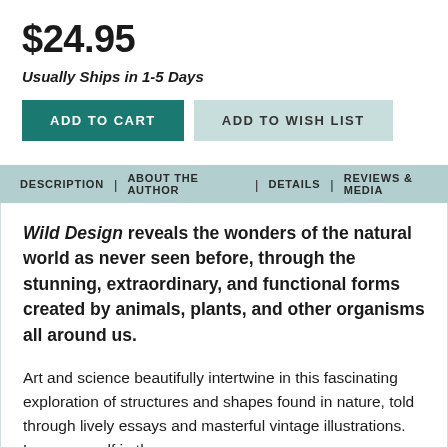$24.95
Usually Ships in 1-5 Days
ADD TO CART
ADD TO WISH LIST
DESCRIPTION | ABOUT THE AUTHOR | DETAILS | REVIEWS & MEDIA
Wild Design reveals the wonders of the natural world as never seen before, through the stunning, extraordinary, and functional forms created by animals, plants, and other organisms all around us.
Art and science beautifully intertwine in this fascinating exploration of structures and shapes found in nature, told through lively essays and masterful vintage illustrations. Lose yourself in the